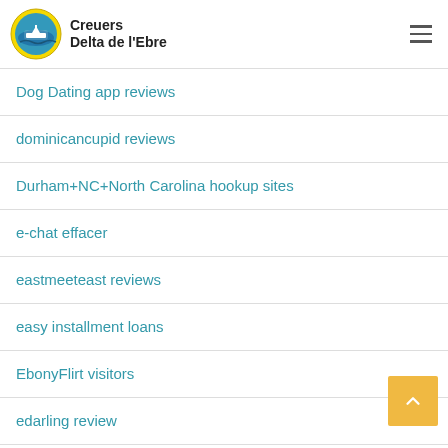Creuers Delta de l'Ebre
Dog Dating app reviews
dominicancupid reviews
Durham+NC+North Carolina hookup sites
e-chat effacer
eastmeeteast reviews
easy installment loans
EbonyFlirt visitors
edarling review